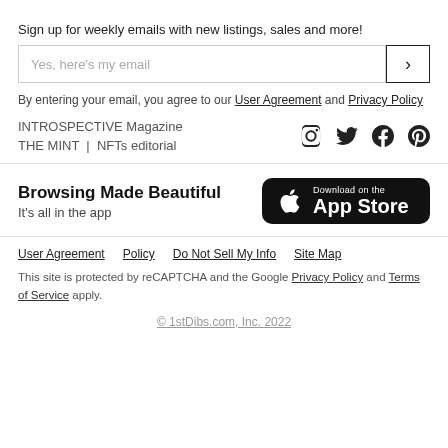Sign up for weekly emails with new listings, sales and more!
Yes, here's my email
By entering your email, you agree to our User Agreement and Privacy Policy
INTROSPECTIVE Magazine
THE MINT | NFTs editorial
[Figure (illustration): Social media icons: Instagram, Twitter, Facebook, Pinterest]
Browsing Made Beautiful
It's all in the app
[Figure (illustration): Download on the App Store badge (black)]
User Agreement   Policy   Do Not Sell My Info   Site Map
This site is protected by reCAPTCHA and the Google Privacy Policy and Terms of Service apply.
© 1stDibs.com, Inc. 2022